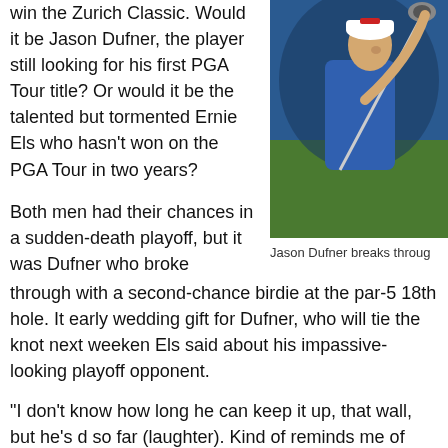win the Zurich Classic. Would it be Jason Dufner, the player still looking for his first PGA Tour title? Or would it be the talented but tormented Ernie Els who hasn't won on the PGA Tour in two years?
[Figure (photo): A golfer in a blue shirt mid-swing with a driver, looking up at the ball flight.]
Jason Dufner breaks throug
Both men had their chances in a sudden-death playoff, but it was Dufner who broke through with a second-chance birdie at the par-5 18th hole. It early wedding gift for Dufner, who will tie the knot next weeken Els said about his impassive-looking playoff opponent.
“I don’t know how long he can keep it up, that wall, but he’s d so far (laughter). Kind of reminds me of myself back in the da wonderful guy. I’ve played a lot of golf with Jason and [he] ob close to winning a major last year against Keegan [Bradley] a quite a few times.